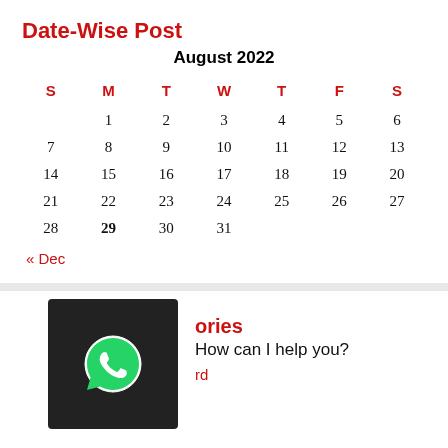Date-Wise Post
| S | M | T | W | T | F | S |
| --- | --- | --- | --- | --- | --- | --- |
|  | 1 | 2 | 3 | 4 | 5 | 6 |
| 7 | 8 | 9 | 10 | 11 | 12 | 13 |
| 14 | 15 | 16 | 17 | 18 | 19 | 20 |
| 21 | 22 | 23 | 24 | 25 | 26 | 27 |
| 28 | 29 | 30 | 31 |  |  |  |
« Dec
ories
[Figure (illustration): WhatsApp chat widget — dark square with WhatsApp logo and text 'How can I help you?']
How can I help you?
rd